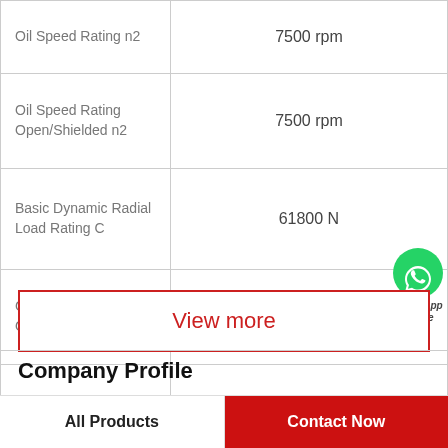| Property | Value |
| --- | --- |
| Oil Speed Rating n2 | 7500 rpm |
| Oil Speed Rating Open/Shielded n2 | 7500 rpm |
| Basic Dynamic Radial Load Rating C | 61800 N |
| Grease Speed Rating Open/Shielded n1 | 6300 rpm |
| Size (mm) | 90mm x 160mm x 30mm |
View more
Company Profile
All Products
Contact Now